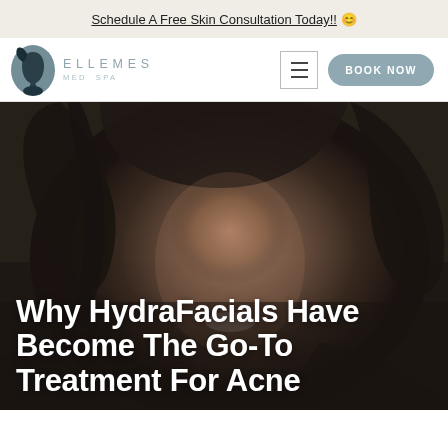Schedule A Free Skin Consultation Today!! 😊
[Figure (logo): Ellemes Med Spa logo with stylized face silhouette and text ELLEMES MED SPA]
Why HydraFacials Have Become The Go-To Treatment For Acne
[Figure (photo): Woman with dark hair smiling against dark background, hero image for HydraFacials article]